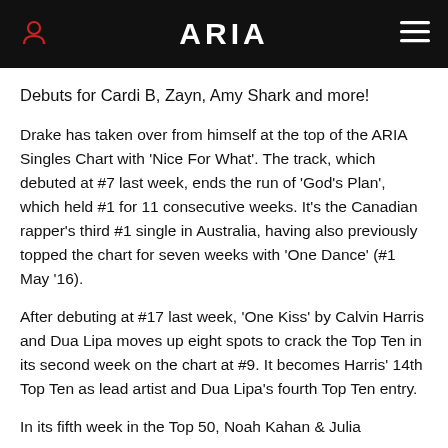ARIA
Debuts for Cardi B, Zayn, Amy Shark and more!
Drake has taken over from himself at the top of the ARIA Singles Chart with 'Nice For What'. The track, which debuted at #7 last week, ends the run of 'God's Plan', which held #1 for 11 consecutive weeks. It's the Canadian rapper's third #1 single in Australia, having also previously topped the chart for seven weeks with 'One Dance' (#1 May '16).
After debuting at #17 last week, 'One Kiss' by Calvin Harris and Dua Lipa moves up eight spots to crack the Top Ten in its second week on the chart at #9. It becomes Harris' 14th Top Ten as lead artist and Dua Lipa's fourth Top Ten entry.
In its fifth week in the Top 50, Noah Kahan & Julia